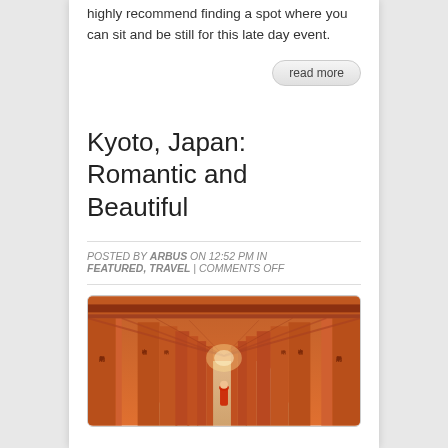highly recommend finding a spot where you can sit and be still for this late day event.
read more
Kyoto, Japan: Romantic and Beautiful
POSTED BY ARBUS ON 12:52 PM IN FEATURED, TRAVEL | COMMENTS OFF
[Figure (photo): Photo of a long corridor of orange torii gates in Kyoto, Japan, with a person in red walking through them. Japanese text is inscribed on the gates.]